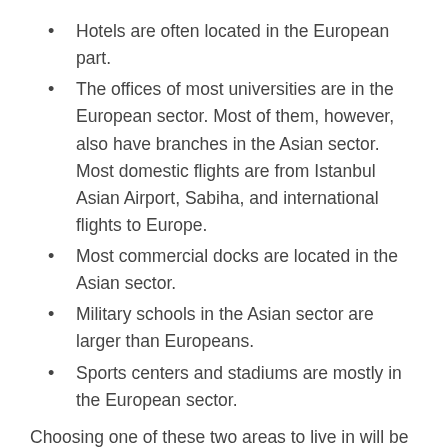Hotels are often located in the European part.
The offices of most universities are in the European sector. Most of them, however, also have branches in the Asian sector. Most domestic flights are from Istanbul Asian Airport, Sabiha, and international flights to Europe.
Most commercial docks are located in the Asian sector.
Military schools in the Asian sector are larger than Europeans.
Sports centers and stadiums are mostly in the European sector.
Choosing one of these two areas to live in will be a difficult choice. Because not all Asian and European regions of Istanbul are the same, one can find neighborhoods that have properties that are contrary to what is said. To buy a property, it is best to look at the